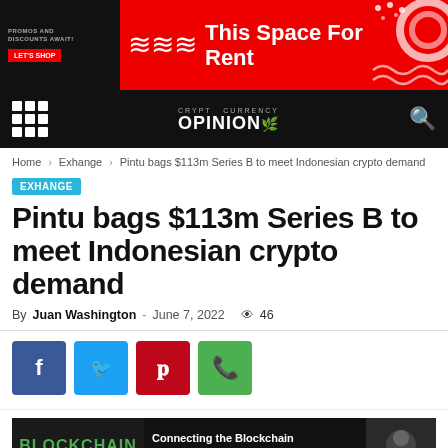[Figure (other): Red advertisement banner with black left panel showing 'PROMOS AND DISCOUNTS AWAIT! LET'S SHOP' and center text 'This Space For Rent' with wave graphics]
CRYPT CURRENCY OPINION
Home > Exhange > Pintu bags $113m Series B to meet Indonesian crypto demand
EXHANGE
Pintu bags $113m Series B to meet Indonesian crypto demand
By Juan Washington - June 7, 2022  46
[Figure (other): Social share buttons: Facebook (blue), Twitter (cyan), Pinterest (red), WhatsApp (green)]
[Figure (other): Bottom advertisement banner with BLOCKCHAIN text in green and 'Connecting the Blockchain Ecosystem' text]